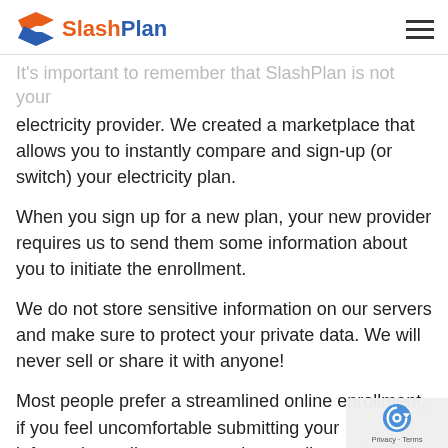SlashPlan
It's important to remember that SlashPlan is not your electricity provider. We created a marketplace that allows you to instantly compare and sign-up (or switch) your electricity plan.
When you sign up for a new plan, your new provider requires us to send them some information about you to initiate the enrollment.
We do not store sensitive information on our servers and make sure to protect your private data. We will never sell or share it with anyone!
Most people prefer a streamlined online enrollment, if you feel uncomfortable submitting your information online you can also enroll over the phone.